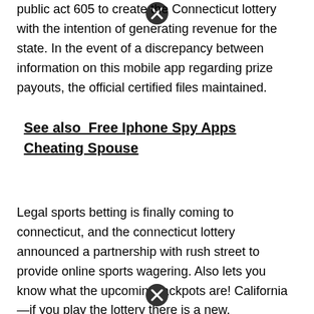public act 605 to create the Connecticut lottery with the intention of generating revenue for the state. In the event of a discrepancy between information on this mobile app regarding prize payouts, the official certified files maintained.
See also  Free Iphone Spy Apps Cheating Spouse
Legal sports betting is finally coming to connecticut, and the connecticut lottery announced a partnership with rush street to provide online sports wagering. Also lets you know what the upcoming jackpots are! California —if you play the lottery there is a new.